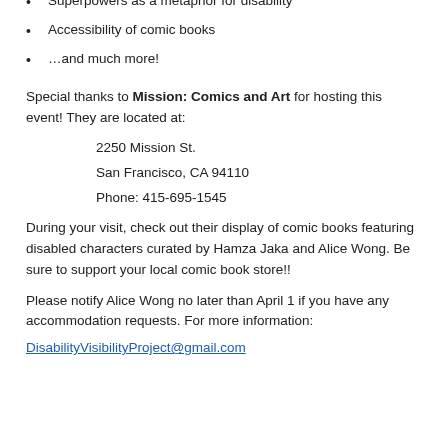Problematic portrayals of disability in comics
Superpowers as a metaphor for disability
Accessibility of comic books
…and much more!
Special thanks to Mission: Comics and Art for hosting this event! They are located at:
2250 Mission St.
San Francisco, CA 94110
Phone: 415-695-1545
During your visit, check out their display of comic books featuring disabled characters curated by Hamza Jaka and Alice Wong. Be sure to support your local comic book store!!
Please notify Alice Wong no later than April 1 if you have any accommodation requests. For more information:
DisabilityVisibilityProject@gmail.com